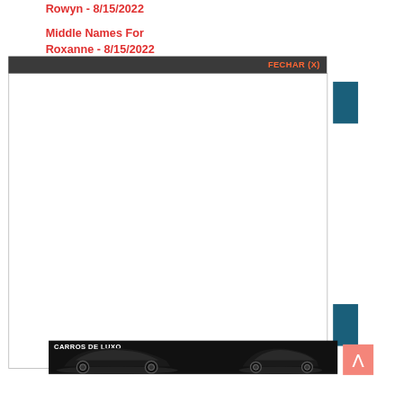Rowyn - 8/15/2022
Middle Names For Roxanne - 8/15/2022
[Figure (screenshot): Modal popup with dark grey header bar showing orange 'FECHAR (X)' close button, white content body, and two teal/dark blue sidebar tab rectangles on the right]
[Figure (photo): Advertisement banner showing two luxury cars (dark colored sports cars) with text 'CARROS DE LUXO' in white on black background]
[Figure (other): Pink/salmon scroll-to-top button with upward arrow on the right side]